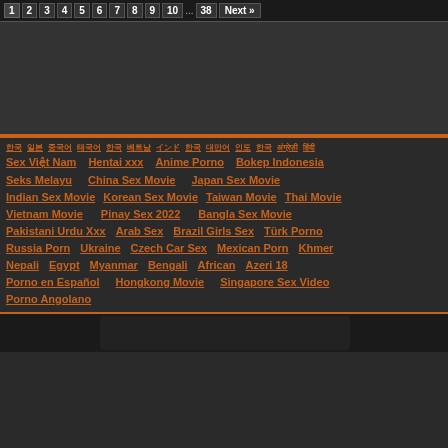1 2 3 4 5 6 7 8 9 10 ... 38 Next »
[Figure (other): Advertisement area, dark background]
한국 일본 중국어 태국어 한국 베트남 インド 한국 대만어 인도 한국 अंग्रेज़ी हिंदी
Sex Việt Nam | Hentai xxx | Anime Porno | Bokep Indonesia
Seks Melayu | China Sex Movie | Japan Sex Movie
Indian Sex Movie | Korean Sex Movie | Taiwan Movie | Thai Movie
Vietnam Movie | Pinay Sex 2022 | Bangla Sex Movie
Pakistani Urdu Xxx | Arab Sex | Brazil Girls Sex | Türk Porno
Russia Porn | Ukraine | Czech Car Sex | Mexican Porn | Khmer
Nepali | Egypt | Myanmar | Bengali | African | Azeri 18
Porno en Español | Hongkong Movie | Singapore Sex Video
Porno Angolano
[Figure (photo): Partial image at bottom of page]